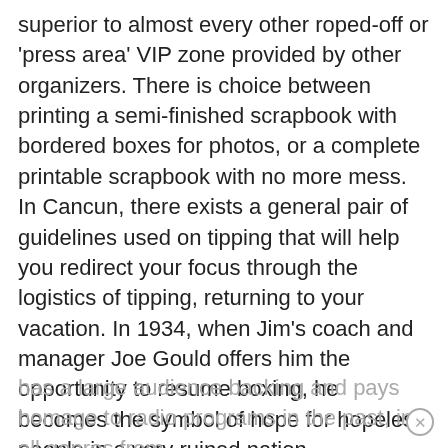superior to almost every other roped-off or 'press area' VIP zone provided by other organizers. There is choice between printing a semi-finished scrapbook with bordered boxes for photos, or a complete printable scrapbook with no more mess. In Cancun, there exists a general pair of guidelines used on tipping that will help you redirect your focus through the logistics of tipping, returning to your vacation. In 1934, when Jim's coach and manager Joe Gould offers him the opportunity to resume boxing, he becomes the symbol of hope for hopeless people in a very ruined nation. If you are a tattoo designer, your better opportunities are available online, or you can choose a tattoo shop in your area and work there to the owner of the shop, we have spent out an agreement with him to showcase your designs. It
has a large audience backing and pays homage to radio programs in the past, in all genres from